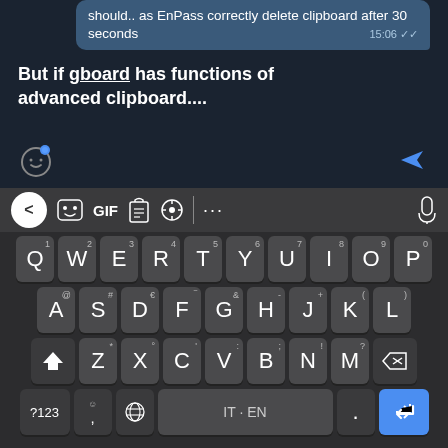should.. as EnPass correctly delete clipboard after 30 seconds  15:06
But if gboard has functions of advanced clipboard....
[Figure (screenshot): Android Gboard keyboard with dark theme showing QWERTY layout, toolbar with GIF/clipboard/settings icons, and bottom row with ?123, emoji, globe, IT·EN language, dot, and blue enter key.]